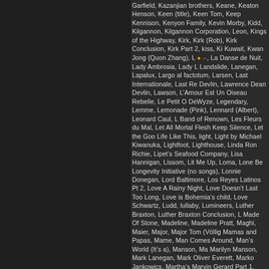Garfield, Kazanjian brothers, Keane, Keaton Henson, Keen (title), Keen Tom, Keep Kennison, Kenyon Family, Kevin Morby, Kidd, Kilgannon, Kilgannon Corporation, Leon, Kings of the Highway, Kirk, Kirk (Rob), Kirk Conclusion, Kirk Part 2, kiss, Ki Kuwait, Kwan Jong (Quon Zhang), L → La Danse de Nuit, Lady Ambrosia, Lady L Landslide, Lanegan, Lapalux, Largo al factotum, Larsen, Last Internationale, Last Re Devlin, Lawrence Dean Devlin, Lawson, L'Amour Est Un Oiseau Rebelle, Le Petit O DeWyze, Legendary, Lemme, Lemonade (Pink), Lennard (Albert), Leonard Caul, L Band of Renown, Les Fleurs du Mal, Let All Mortal Flesh Keep Silence, Let the Goo Life Like This, light, Light by Michael Kiwanuka, Lightfoot, Lighthouse, Linda Ron Richie, Lipet's Seafood Company, Lisa Hannigan, Lissom, Lit Me Up, Loma, Lone Be Longevity Initiative (no songs), Lonnie Donegan, Lord Baltimore, Los Reyes Latinos Pt 2, Love A Rainy Night, Love Doesn't Last Too Long, Love is Bohemia's child, Love Schwartz, Ludd, lullaby, Lumineers, Luther Braxton, Luther Braxton Conclusion, L Made Of Stone, Madeline, Madeline Pratt, Maghi, Maier, Major, Major Tom (Völlig Mamas and Papas, Mame, Man Comes Around, Man's World (It's a), Manson, Ma Marilyn Manson, Mark Lanegan, Mark Oliver Everett, Marko Jankowics, Martha's Marvin Gerard Part 1, Marvin Gerard Part 2, Marvin Gerard Pt 1, Marvin Gerard P Matt Corby, Matthews, Mavis Staples, Maxine Nightingale, Mayes, Mazzy Star, McC Merle Haggard, Merrilee Rush, Merton, Mi Verdadero Amor, Michael Jackson, Mi Miller (Frankie), Milton, Milton Bobbit, Minister D, Misere, Miss Rebecca Thrall, M Mombasa Cartel, Moment, Monarch, Monarch Douglas Bank, Money Money, Mo Morning Jacket, Mortal Flesh Keep Silence, Mosadek, Moses, Mozart, Mr Gregory Raleigh Sinclair III, Mr Solomon, Mr Solomon Conclusion, Mr Solomon Part 2, Muc Music S1A, Music S1B, Music S2 Eps 1-10, Music S2 Eps 11-22, Music S2A, Music S2 S3A, Music S3B, Music S3C, Music S4 Eps 1-8, Music S4 Eps 16-22, Music S4 Eps 9-1 Eps 17-22, Music S5 Eps 9-16, Music S5A, Music S5B, Music S5C, Music S6 Eps 1-8, M S6C, Music S7 Eps 1-8, Music S7 Eps 17-19, Music S7 Eps 9-16, Music S7A, Music S7B 16, Music S8A, Music S8B, Music S8C, Music S9 Eps 1-8, Music S9 Eps 17-22, Music Girl, My Morning Jacket, My One And Only A, My One And Only A by Albert Lenr Love, My Type, Myhill, Myrna Rowlands, N → Nachalo, Naive Melody, Nancy Sin New York Groove, Newton Purcell, Nicholas Obenrader [No Songs], Nicholas T Mo Nightlife, Nikolai Rimsky-Korsakov, Nilsson, Nitty Gritty Dirt Band, No Harm, No Ro Tomorrow (Love Like There's), No Turning Back, Noah Jackson, Nobody Knows, No Nursery, Nyle Hatcher, O → Obenrader [No Songs], Odell, Odia Coates,